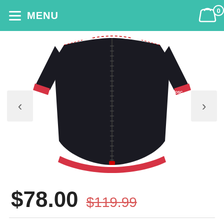MENU
[Figure (photo): Black and red cycling jersey (Rosso brand) shown from front, with full zip, short sleeves, and red trim at collar, cuffs and hem. Product image with left/right navigation arrows on white background.]
$78.00  $119.99